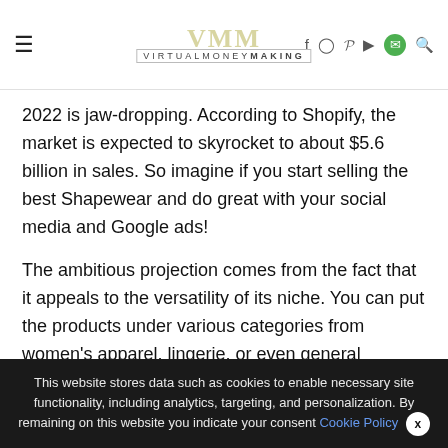VIRTUALMONEY MAKING — navigation header
2022 is jaw-dropping. According to Shopify, the market is expected to skyrocket to about $5.6 billion in sales. So imagine if you start selling the best Shapewear and do great with your social media and Google ads!
The ambitious projection comes from the fact that it appeals to the versatility of its niche. You can put the products under various categories from women's apparel, lingerie, or even general apparel. The key to making this product a best seller is to make sure that it's a breathable, anti-slip, and a slimmer figure for your customers.
This website stores data such as cookies to enable necessary site functionality, including analytics, targeting, and personalization. By remaining on this website you indicate your consent Cookie Policy